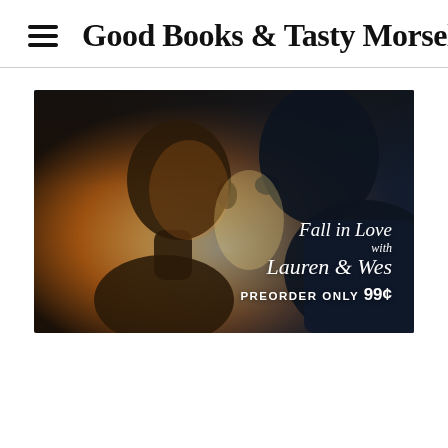Good Books & Tasty Morsels
[Figure (photo): A romantic close-up of two silhouetted faces nearly touching, backlit with warm golden light. Text overlay on right reads: 'Fall in Love with Lauren & Wes' in script, and 'PREORDER ONLY 99¢' in bold sans-serif below.]